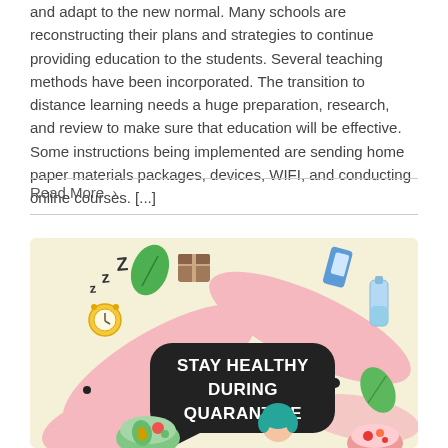and adapt to the new normal. Many schools are reconstructing their plans and strategies to continue providing education to the students. Several teaching methods have been incorporated. The transition to distance learning needs a huge preparation, research, and review to make sure that education will be effective. Some instructions being implemented are sending home paper materials packages, devices, WIFI, and conducting online courses. [...]
Read More ›
[Figure (illustration): Colorful infographic illustration on a light yellow background showing various health-related icons (alarm clock with Zzz, green leaf, brown box, hands, phone, water bottle, salad bowl, person with teal hair) around a dark speech bubble reading 'STAY HEALTHY DURING QUARANTINE' in bold white text.]